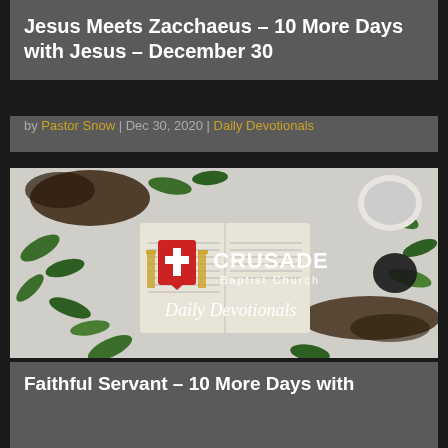Jesus Meets Zacchaeus – 10 More Days with Jesus – December 30
by Pastor Snow | Dec 30, 2020 | Daily Devotionals
[Figure (photo): Crusade Baptist Church Daily Devotionals banner image showing an open Bible surrounded by green leaves and coffee grounds, with the church logo (red shield with white cross, gold pillars), church name 'CRUSADE Baptist Church', and 'Daily Devotionals' in white script text.]
Faithful Servant – 10 More Days with